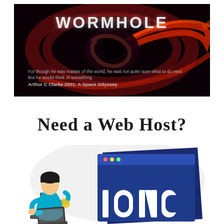[Figure (illustration): Dark background image showing a wormhole/spiral vortex in red and dark tones with the text 'WORMHOLE' in white letters at the top, and a quote below: 'For though he was master of the world, he was not quite sure what to do next. But he would think of something.' attributed to 'Arthur C Clarke 2001: A Space Odyssey']
Need a Web Host?
[Figure (illustration): Illustration of a person sitting with a laptop in front of a large blue browser/screen panel showing partial text 'IONC' — representing a web hosting service advertisement]